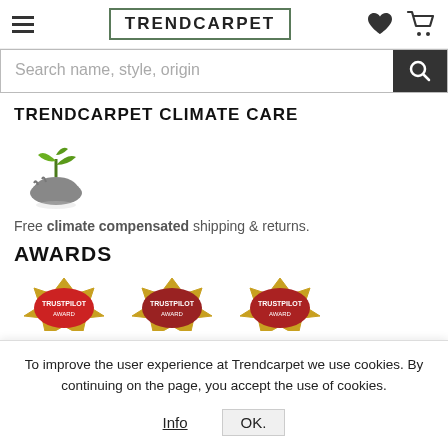TRENDCARPET
Search name, style, origin
TRENDCARPET CLIMATE CARE
[Figure (illustration): Hand holding a green plant sprout icon representing climate care]
Free climate compensated shipping & returns.
AWARDS
[Figure (illustration): Three award badge icons partially visible at bottom of page]
To improve the user experience at Trendcarpet we use cookies. By continuing on the page, you accept the use of cookies.
Info   OK.